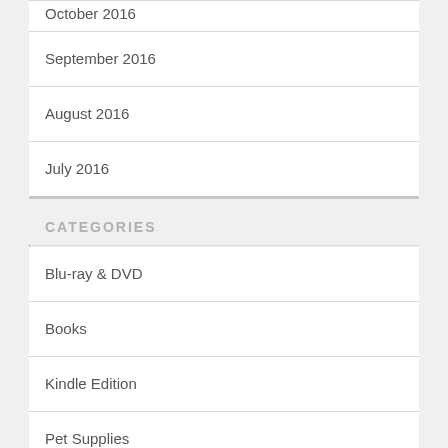October 2016
September 2016
August 2016
July 2016
CATEGORIES
Blu-ray & DVD
Books
Kindle Edition
Pet Supplies
Protest Items
Reading Accessories